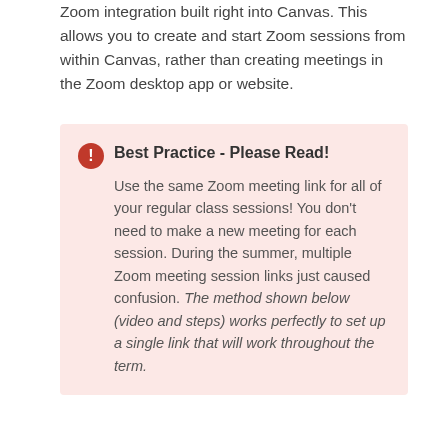Zoom integration built right into Canvas. This allows you to create and start Zoom sessions from within Canvas, rather than creating meetings in the Zoom desktop app or website.
Best Practice - Please Read! Use the same Zoom meeting link for all of your regular class sessions! You don't need to make a new meeting for each session. During the summer, multiple Zoom meeting session links just caused confusion. The method shown below (video and steps) works perfectly to set up a single link that will work throughout the term.